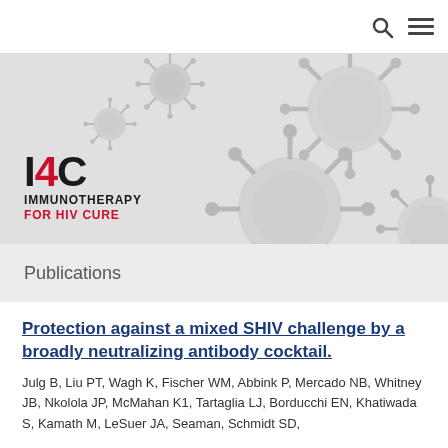[Figure (logo): I4C Immunotherapy for HIV Cure logo with virus particle background in gray, navigation bar with search and menu icons]
Publications
Protection against a mixed SHIV challenge by a broadly neutralizing antibody cocktail.
Julg B, Liu PT, Wagh K, Fischer WM, Abbink P, Mercado NB, Whitney JB, Nkolola JP, McMahan K1, Tartaglia LJ, Borducchi EN, Khatiwada S, Kamath M, LeSuer JA, Seaman, Schmidt SD,